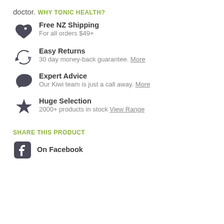doctor.
WHY TONIC HEALTH?
Free NZ Shipping - For all orders $49+
Easy Returns - 30 day money-back guarantee. More
Expert Advice - Our Kiwi team is just a call away. More
Huge Selection - 2000+ products in stock View Range
SHARE THIS PRODUCT
On Facebook